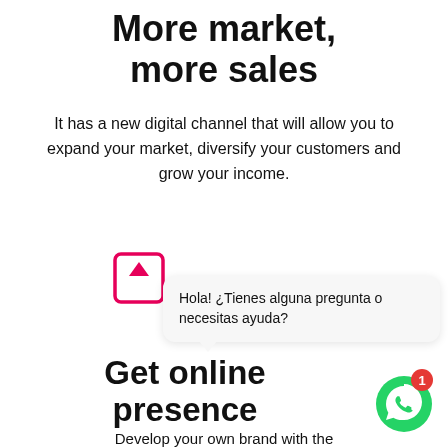More market, more sales
It has a new digital channel that will allow you to expand your market, diversify your customers and grow your income.
[Figure (illustration): Pink bracket/chat icon and a speech bubble chat widget saying 'Hola! ¿Tienes alguna pregunta o necesitas ayuda?' and a green WhatsApp button with notification badge showing 1]
Get online presence
Develop your own brand with the